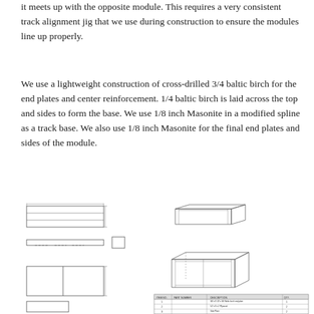it meets up with the opposite module. This requires a very consistent track alignment jig that we use during construction to ensure the modules line up properly.
We use a lightweight construction of cross-drilled 3/4 baltic birch for the end plates and center reinforcement. 1/4 baltic birch is laid across the top and sides to form the base. We use 1/8 inch Masonite in a modified spline as a track base. We also use 1/8 inch Masonite for the final end plates and sides of the module.
[Figure (engineering-diagram): Technical drawings of a model railroad module showing top view (plan), side/end elevation views, and exploded 3D perspective views of the rectangular module box construction. Also includes a parts list table at the bottom right.]